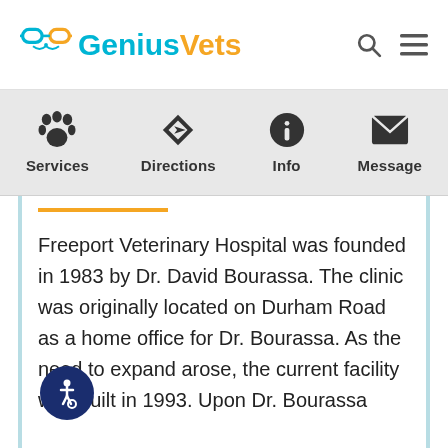[Figure (logo): GeniusVets logo with glasses icon in teal/blue and text 'GeniusVets' where 'Genius' is in teal and 'Vets' is in orange/gold]
GeniusVets — navigation header with search and menu icons
[Figure (infographic): Navigation bar with four items: Services (paw print icon), Directions (map arrow icon), Info (info circle icon), Message (envelope icon)]
Freeport Veterinary Hospital was founded in 1983 by Dr. David Bourassa. The clinic was originally located on Durham Road as a home office for Dr. Bourassa. As the need to expand arose, the current facility was built in 1993. Upon Dr. Bourassa